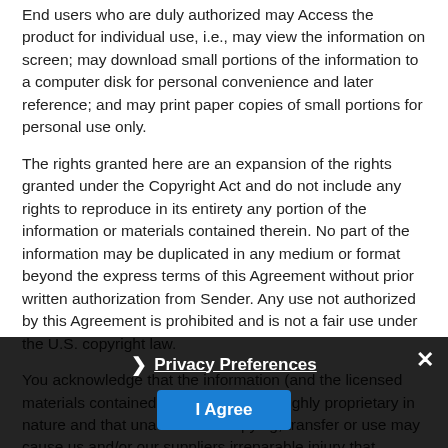End users who are duly authorized may Access the product for individual use, i.e., may view the information on screen; may download small portions of the information to a computer disk for personal convenience and later reference; and may print paper copies of small portions for personal use only.
The rights granted here are an expansion of the rights granted under the Copyright Act and do not include any rights to reproduce in its entirety any portion of the information or materials contained therein. No part of the information may be duplicated in any medium or format beyond the express terms of this Agreement without prior written authorization from Sender. Any use not authorized by this Agreement is prohibited and is not a fair use under the U.S. copyright law.
You acknowledge that the information (and the licensed materials contained in the product) is highly proprietary in nature and that unauthorized copying, transfer or use may cause us and/or our suppliers irreparable injury that cannot be adequately compensated for by means of monetary damages. You agree that any breach of this provision by you, or any subscriber or end user, may be enforced against you by our suppliers, by means of equitable relief (including, but not limited to, injunctive relief, preliminary injunctions, as any court of competent...
Privacy Preferences
I Agree